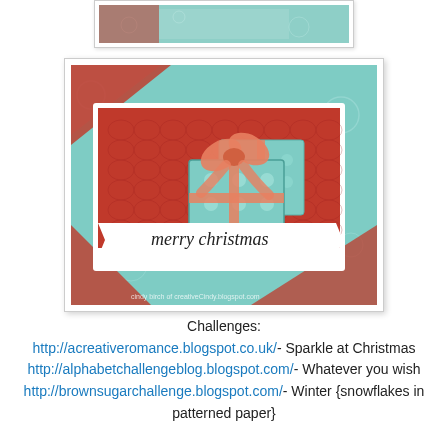[Figure (photo): Partial top view of a Christmas card with teal/aqua patterned background]
[Figure (photo): Christmas card featuring embossed red patterned background with teal gift boxes decorated with polka dots and ribbons, and a white banner reading 'merry christmas'. Watermark reads: cindy birch of creativeCindy.blogspot.com]
Challenges:
http://acreativeromance.blogspot.co.uk/- Sparkle at Christmas
http://alphabetchallengeblog.blogspot.com/- Whatever you wish
http://brownsugarchallenge.blogspot.com/- Winter {snowflakes in patterned paper}